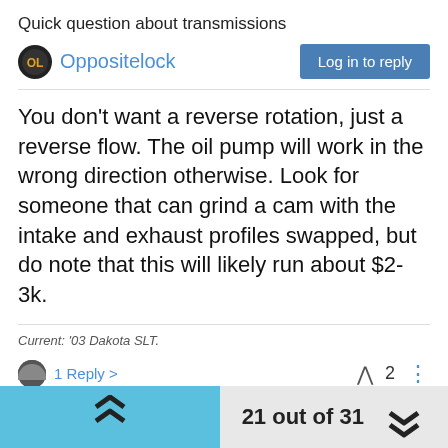Quick question about transmissions
Oppositelock
You don't want a reverse rotation, just a reverse flow. The oil pump will work in the wrong direction otherwise. Look for someone that can grind a cam with the intake and exhaust profiles swapped, but do note that this will likely run about $2-3k.
Current: '03 Dakota SLT.
1 Reply >
21 out of 31